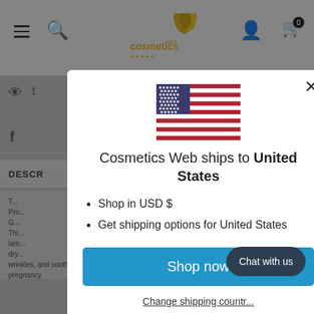[Figure (screenshot): Cosmetics Web e-commerce website header with hamburger menu, search icon, logo, user icon, and cart icon showing 0 items]
[Figure (screenshot): Modal dialog overlay on the Cosmetics Web website showing a US flag, shipping information, and action buttons]
Cosmetics Web ships to United States
Shop in USD $
Get shipping options for United States
Shop now
Change shipping country
Chat with us